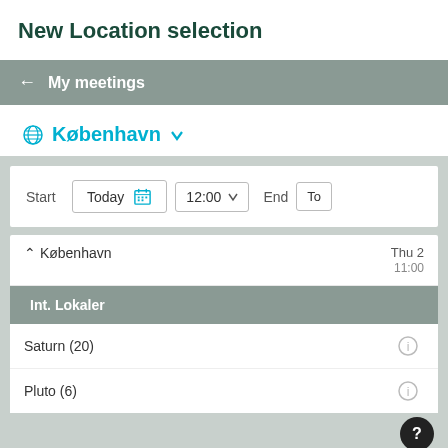New Location selection
[Figure (screenshot): Navigation bar with back arrow and 'My meetings' label on a grey background]
København ▾
[Figure (screenshot): Room booking UI panel showing Start date (Today, 12:00) and End fields, then a Kobenhavn location group with Int. Lokaler subgroup showing Saturn (20) and Pluto (6) rooms, with Thu date column and a help button]